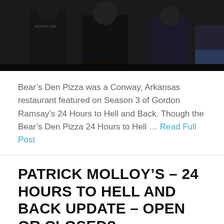[Figure (photo): Group photo of people wearing dark t-shirts, one with 'Bear's Den' text, partially cropped at top]
Bear’s Den Pizza was a Conway, Arkansas restaurant featured on Season 3 of Gordon Ramsay’s 24 Hours to Hell and Back. Though the Bear’s Den Pizza 24 Hours to Hell … Read Full Post
PATRICK MOLLOY’S – 24 HOURS TO HELL AND BACK UPDATE – OPEN OR CLOSED?
[Figure (photo): Partially visible group photo at the bottom of the page, showing people in a row, cropped]